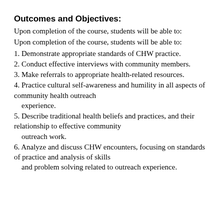Outcomes and Objectives:
Upon completion of the course, students will be able to:
Upon completion of the course, students will be able to:
1. Demonstrate appropriate standards of CHW practice.
2. Conduct effective interviews with community members.
3. Make referrals to appropriate health-related resources.
4. Practice cultural self-awareness and humility in all aspects of community health outreach experience.
5. Describe traditional health beliefs and practices, and their relationship to effective community outreach work.
6. Analyze and discuss CHW encounters, focusing on standards of practice and analysis of skills and problem solving related to outreach experience.